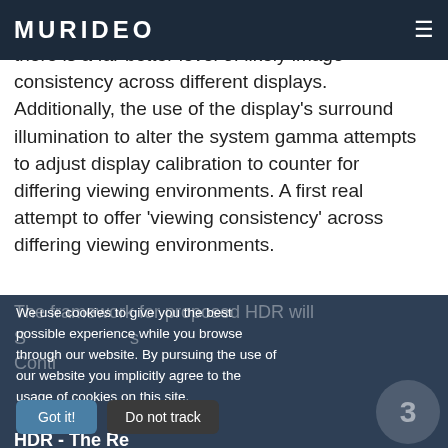MURIDEO
or no reliance on meta-data, there is a far better level of likely image consistency across different displays. Additionally, the use of the display's surround illumination to alter the system gamma attempts to adjust display calibration to counter for differing viewing environments. A first real attempt to offer 'viewing consistency' across differing viewing environments.
We use cookies to give you the best possible experience while you browse through our website. By pursuing the use of our website you implicitly agree to the usage of cookies on this site.
HDR - The Re